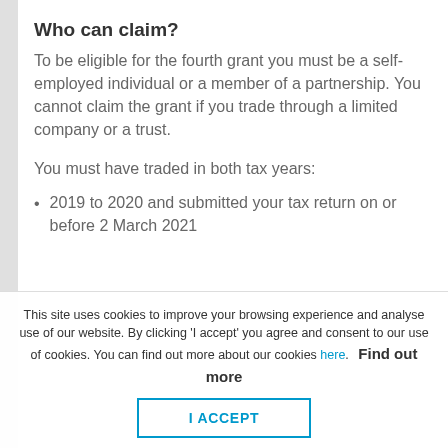Who can claim?
To be eligible for the fourth grant you must be a self-employed individual or a member of a partnership. You cannot claim the grant if you trade through a limited company or a trust.
You must have traded in both tax years:
2019 to 2020 and submitted your tax return on or before 2 March 2021
This site uses cookies to improve your browsing experience and analyse use of our website. By clicking 'I accept' you agree and consent to our use of cookies. You can find out more about our cookies here.
Find out more
I ACCEPT